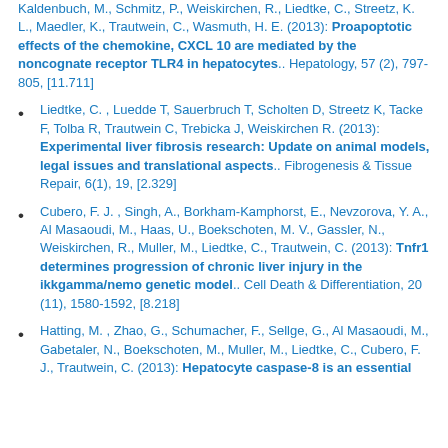Kaldenbuch, M., Schmitz, P., Weiskirchen, R., Liedtke, C., Streetz, K. L., Maedler, K., Trautwein, C., Wasmuth, H. E. (2013): Proapoptotic effects of the chemokine, CXCL 10 are mediated by the noncognate receptor TLR4 in hepatocytes.. Hepatology, 57 (2), 797-805, [11.711]
Liedtke, C. , Luedde T, Sauerbruch T, Scholten D, Streetz K, Tacke F, Tolba R, Trautwein C, Trebicka J, Weiskirchen R. (2013): Experimental liver fibrosis research: Update on animal models, legal issues and translational aspects.. Fibrogenesis & Tissue Repair, 6(1), 19, [2.329]
Cubero, F. J. , Singh, A., Borkham-Kamphorst, E., Nevzorova, Y. A., Al Masaoudi, M., Haas, U., Boekschoten, M. V., Gassler, N., Weiskirchen, R., Muller, M., Liedtke, C., Trautwein, C. (2013): Tnfr1 determines progression of chronic liver injury in the ikkgamma/nemo genetic model.. Cell Death & Differentiation, 20 (11), 1580-1592, [8.218]
Hatting, M. , Zhao, G., Schumacher, F., Sellge, G., Al Masaoudi, M., Gabetaler, N., Boekschoten, M., Muller, M., Liedtke, C., Cubero, F. J., Trautwein, C. (2013): Hepatocyte caspase-8 is an essential...